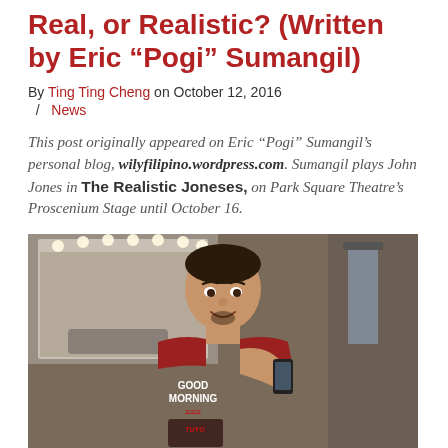Real, or Realistic? (Written by Eric “Pogi” Sumangil)
By Ting Ting Cheng on October 12, 2016   /   News
This post originally appeared on Eric “Pogi” Sumangil’s personal blog, wilyfilipino.wordpress.com. Sumangil plays John Jones in The Realistic Joneses, on Park Square Theatre’s Proscenium Stage until October 16.
[Figure (photo): A man taking a selfie in a mirror, wearing a red t-shirt with 'GOOD MORNING' text, in what appears to be a backstage dressing room with lights around a mirror visible in the background.]